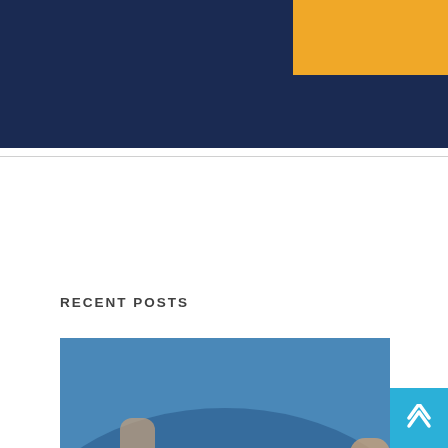[Figure (illustration): Dark navy blue website header banner with an orange/amber button element in the top right corner]
RECENT POSTS
[Figure (photo): Photo of hands arranging colorful cryptocurrency coins on an accounting label/surface. Coins are various colors including gold, purple, gray, orange.]
Is Now The Time to Make The Mov
5 HOURS /  0 COMMENTS
[Figure (photo): Photo of a young man seen from the side/back, against a light background]
5 Tips for Starting a Career a